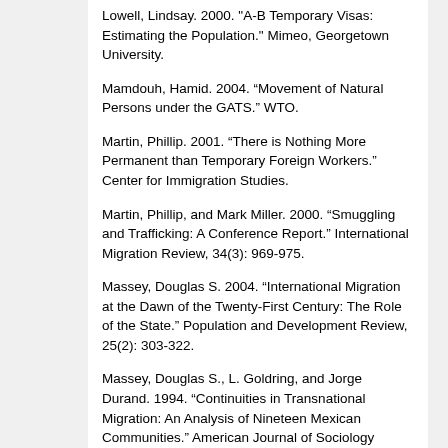Lowell, Lindsay. 2000. "A-B Temporary Visas: Estimating the Population." Mimeo, Georgetown University.
Mamdouh, Hamid. 2004. “Movement of Natural Persons under the GATS.” WTO.
Martin, Phillip. 2001. “There is Nothing More Permanent than Temporary Foreign Workers.” Center for Immigration Studies.
Martin, Phillip, and Mark Miller. 2000. “Smuggling and Trafficking: A Conference Report.” International Migration Review, 34(3): 969-975.
Massey, Douglas S. 2004. “International Migration at the Dawn of the Twenty-First Century: The Role of the State.” Population and Development Review, 25(2): 303-322.
Massey, Douglas S., L. Goldring, and Jorge Durand. 1994. “Continuities in Transnational Migration: An Analysis of Nineteen Mexican Communities.” American Journal of Sociology 99(6): 1492-1533.
Mayda, Anna Maria. 2006. “Who is Against Immigration? A Cross Country Investigation of Individual Attitudes towards Immigrants.” Review of Economics and Statistics, 88(3): 510-530.
Mazzolari, Francesca. 2006. “Determinants and Effects of